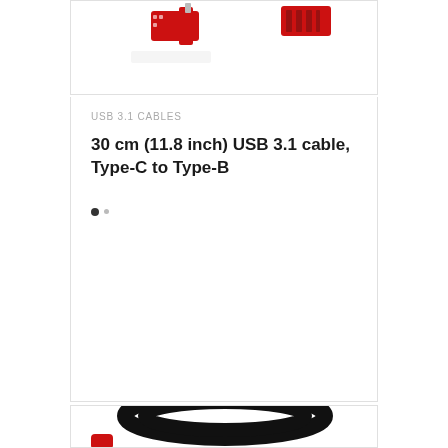[Figure (photo): Top portion of a product card showing red USB Type-C and Type-B connectors against a white background]
USB 3.1 CABLES
30 cm (11.8 inch) USB 3.1 cable, Type-C to Type-B
[Figure (photo): Product photo showing a black coiled USB 3.1 cable with red connectors on white background]